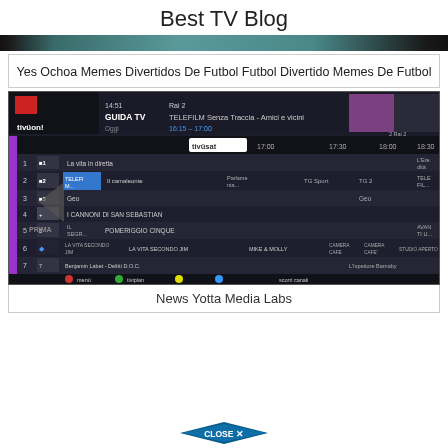Best TV Blog
[Figure (screenshot): Decorative banner image with teal/dark gradient]
Yes Ochoa Memes Divertidos De Futbol Futbol Divertido Memes De Futbol
[Figure (screenshot): Screenshot of tivüon! / tivüsat TV guide interface showing channels 1-7 with program listings at times 17:00, 17:30, 18:00, 18:30. Channel 1: La vita in diretta / L'Ere... Channel 2: TELEFILM, Il camaleonte, Parlame nta..., TG Sport, TG 2, TELE FIL... Channel 3: Geo, Geo. Channel 4: I CANNONI DI SAN SEBASTIAN. Channel 5: IL SEGR... POMERIGGIO CINQUE, AVAN TI U... Channel 6: LA VITA SECONDO JIM, LA VITA SECONDO JIM, MIKE & MOLLY, CAMERA CAFE, CAMERA CAFE', STUDIO APERTO. Channel 7: Benjamin Labet - Delitti D.O.C., L'Ispettore Barnaby.]
News Yotta Media Labs
[Figure (other): CLOSE X button in dark blue/teal diamond/arrow shape]